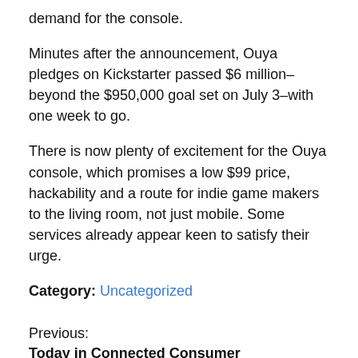demand for the console.
Minutes after the announcement, Ouya pledges on Kickstarter passed $6 million–beyond the $950,000 goal set on July 3–with one week to go.
There is now plenty of excitement for the Ouya console, which promises a low $99 price, hackability and a route for indie game makers to the living room, not just mobile. Some services already appear keen to satisfy their urge.
Category: Uncategorized
Previous:
Today in Connected Consumer
Next:
Is Twitter a publisher or a distributor? There's a crucial difference